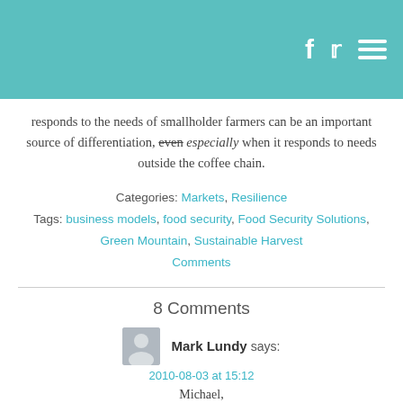Social media icons header bar
responds to the needs of smallholder farmers can be an important source of differentiation, even especially when it responds to needs outside the coffee chain.
Categories: Markets, Resilience
Tags: business models, food security, Food Security Solutions, Green Mountain, Sustainable Harvest Comments
8 Comments
Mark Lundy says:
2010-08-03 at 15:12
Michael,
Interesting piece. I think what you witnessed at this workshop is an important shift from, broadly speaking, a buyers market towards a seller's market. In the past, small